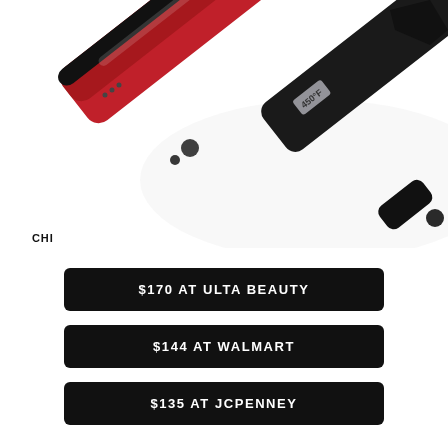[Figure (photo): Close-up photo of a red and black CHI hair straightener flat iron, shown diagonally from upper-left to lower-right against a white background]
CHI
$170 AT ULTA BEAUTY
$144 AT WALMART
$135 AT JCPENNEY